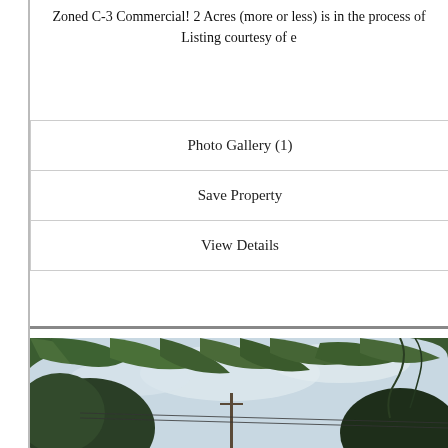Zoned C-3 Commercial! 2 Acres (more or less) is in the process of
Listing courtesy of e
Photo Gallery (1)
Save Property
View Details
[Figure (photo): Outdoor photo looking upward through large green maple tree leaves and branches, with a cloudy sky visible in the center and background. Trees and utility poles visible in the distance below.]